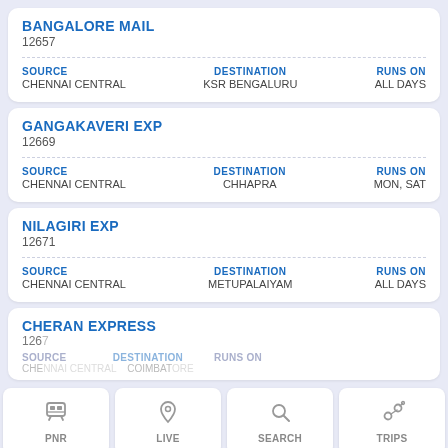BANGALORE MAIL
12657
SOURCE: CHENNAI CENTRAL | DESTINATION: KSR BENGALURU | RUNS ON: ALL DAYS
GANGAKAVERI EXP
12669
SOURCE: CHENNAI CENTRAL | DESTINATION: CHHAPRA | RUNS ON: MON, SAT
NILAGIRI EXP
12671
SOURCE: CHENNAI CENTRAL | DESTINATION: METUPALAIYAM | RUNS ON: ALL DAYS
CHERAN EXPRESS
12673
SOURCE: CHENNAI CENTRAL | DESTINATION: COIMBATORE | RUNS ON: ...
PNR | LIVE | SEARCH | TRIPS